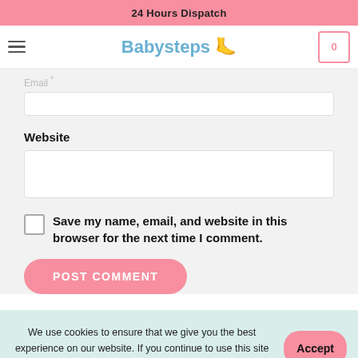24 Hours Dispatch
[Figure (screenshot): Babysteps website nav bar with hamburger menu, Babysteps logo with footprint icon, and cart icon showing 0]
Email *
Website
Save my name, email, and website in this browser for the next time I comment.
POST COMMENT
We use cookies to ensure that we give you the best experience on our website. If you continue to use this site we will assume that you are happy with it.
Accept